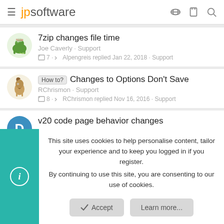jpsoftware
7zip changes file time
Joe Caverly · Support
7 · Alpengreis replied Jan 22, 2018 · Support
How to? Changes to Options Don't Save
RChrismon · Support
8 · RChrismon replied Nov 16, 2016 · Support
v20 code page behavior changes
DanS · Support
2 · DanS replied Sep 29, 2016 · Support
This site uses cookies to help personalise content, tailor your experience and to keep you logged in if you register.
By continuing to use this site, you are consenting to our use of cookies.